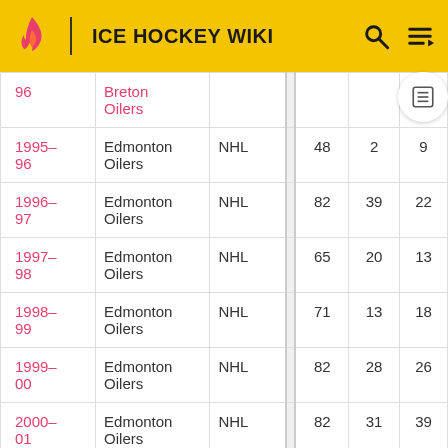ICE HOCKEY WIKI
| Season | Team | League |  | GP | G | A |
| --- | --- | --- | --- | --- | --- | --- |
| 96 | Breton Oilers |  |  |  |  |  |
| 1995-96 | Edmonton Oilers | NHL |  | 48 | 2 | 9 |
| 1996-97 | Edmonton Oilers | NHL |  | 82 | 39 | 22 |
| 1997-98 | Edmonton Oilers | NHL |  | 65 | 20 | 13 |
| 1998-99 | Edmonton Oilers | NHL |  | 71 | 13 | 18 |
| 1999-00 | Edmonton Oilers | NHL |  | 82 | 28 | 26 |
| 2000-01 | Edmonton Oilers | NHL |  | 82 | 31 | 39 |